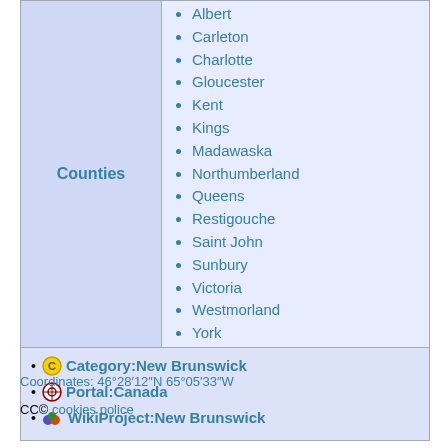Albert
Carleton
Charlotte
Gloucester
Kent
Kings
Madawaska
Northumberland
Queens
Restigouche
Saint John
Sunbury
Victoria
Westmorland
York
Category:New Brunswick
Portal:Canada
WikiProject:New Brunswick
Coordinates: 46°28′12″N 65°05′33″W
CC© cookies police